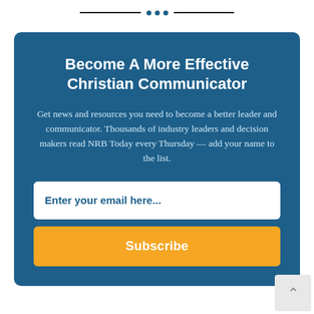···  (decorative divider with three blue dots)
Become A More Effective Christian Communicator
Get news and resources you need to become a better leader and communicator. Thousands of industry leaders and decision makers read NRB Today every Thursday — add your name to the list.
Enter your email here...
Subscribe